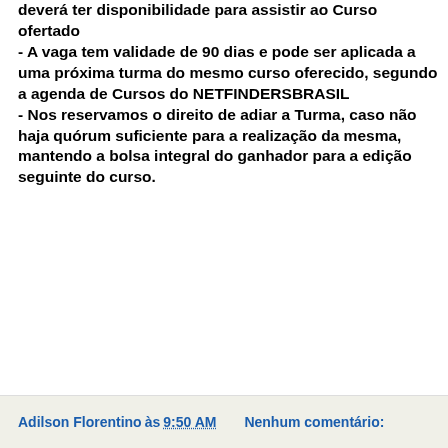deverá ter disponibilidade para assistir ao Curso ofertado - A vaga tem validade de 90 dias e pode ser aplicada a uma próxima turma do mesmo curso oferecido, segundo a agenda de Cursos do NETFINDERSBRASIL - Nos reservamos o direito de adiar a Turma, caso não haja quórum suficiente para a realização da mesma, mantendo a bolsa integral do ganhador para a edição seguinte do curso.
Adilson Florentino às 9:50 AM    Nenhum comentário: